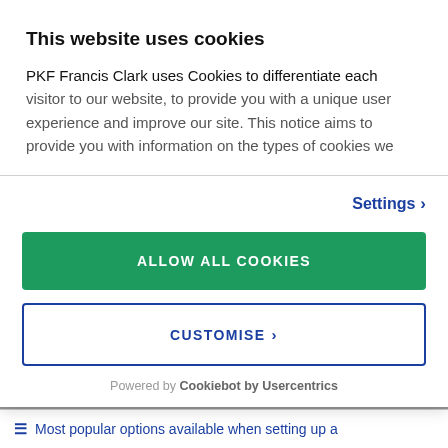This website uses cookies
PKF Francis Clark uses Cookies to differentiate each visitor to our website, to provide you with a unique user experience and improve our site. This notice aims to provide you with information on the types of cookies we
Settings ›
ALLOW ALL COOKIES
CUSTOMISE ›
Powered by Cookiebot by Usercentrics
Most popular options available when setting up a